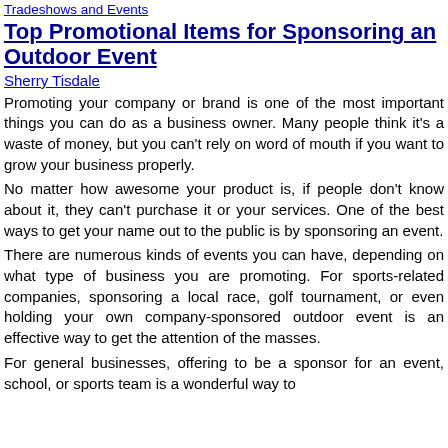Tradeshows and Events
Top Promotional Items for Sponsoring an Outdoor Event
Sherry Tisdale
Promoting your company or brand is one of the most important things you can do as a business owner. Many people think it's a waste of money, but you can't rely on word of mouth if you want to grow your business properly.
No matter how awesome your product is, if people don't know about it, they can't purchase it or your services. One of the best ways to get your name out to the public is by sponsoring an event.
There are numerous kinds of events you can have, depending on what type of business you are promoting. For sports-related companies, sponsoring a local race, golf tournament, or even holding your own company-sponsored outdoor event is an effective way to get the attention of the masses.
For general businesses, offering to be a sponsor for an event, school, or sports team is a wonderful way to